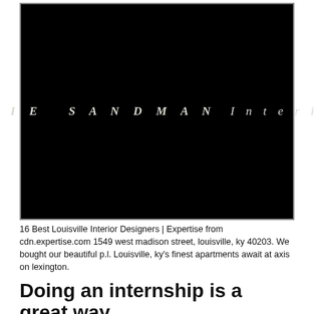[Figure (logo): Black background logo image showing 'JULIE SANDMAN Interiors' in italic spaced lettering in light gray/white color]
16 Best Louisville Interior Designers | Expertise from cdn.expertise.com 1549 west madison street, louisville, ky 40203. We bought our beautiful p.l. Louisville, ky's finest apartments await at axis on lexington.
Doing an internship is a great way